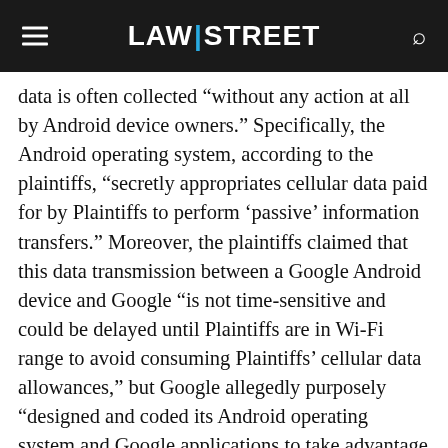LAW|STREET
data is often collected “without any action at all by Android device owners.” Specifically, the Android operating system, according to the plaintiffs, “secretly appropriates cellular data paid for by Plaintiffs to perform ‘passive’ information transfers.” Moreover, the plaintiffs claimed that this data transmission between a Google Android device and Google “is not time-sensitive and could be delayed until Plaintiffs are in Wi-Fi range to avoid consuming Plaintiffs’ cellular data allowances,” but Google allegedly purposely “designed and coded its Android operating system and Google applications to take advantage of Plaintiffs’ data allowances and passively transfer information at all hours of the day,” despite a